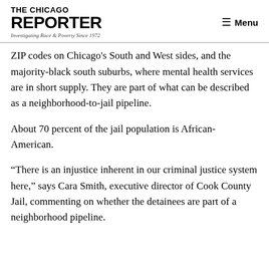THE CHICAGO REPORTER — Investigating Race & Poverty Since 1972 — Menu
ZIP codes on Chicago's South and West sides, and the majority-black south suburbs, where mental health services are in short supply. They are part of what can be described as a neighborhood-to-jail pipeline.
About 70 percent of the jail population is African-American.
“There is an injustice inherent in our criminal justice system here,” says Cara Smith, executive director of Cook County Jail, commenting on whether the detainees are part of a neighborhood pipeline.